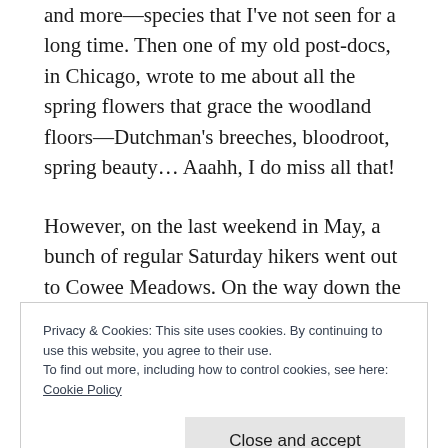and more—species that I've not seen for a long time. Then one of my old post-docs, in Chicago, wrote to me about all the spring flowers that grace the woodland floors—Dutchman's breeches, bloodroot, spring beauty... Aaahh, I do miss all that!
However, on the last weekend in May, a bunch of regular Saturday hikers went out to Cowee Meadows. On the way down the trail, we enjoyed the many bog laurels and bog
Privacy & Cookies: This site uses cookies. By continuing to use this website, you agree to their use.
To find out more, including how to control cookies, see here: Cookie Policy
Close and accept
a b o u t f o r e s t s o n t h e m o v e f